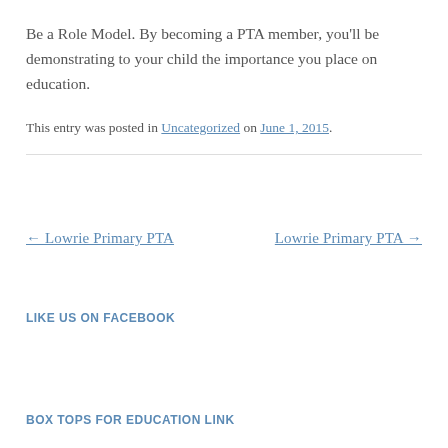Be a Role Model. By becoming a PTA member, you'll be demonstrating to your child the importance you place on education.
This entry was posted in Uncategorized on June 1, 2015.
← Lowrie Primary PTA    Lowrie Primary PTA →
LIKE US ON FACEBOOK
BOX TOPS FOR EDUCATION LINK